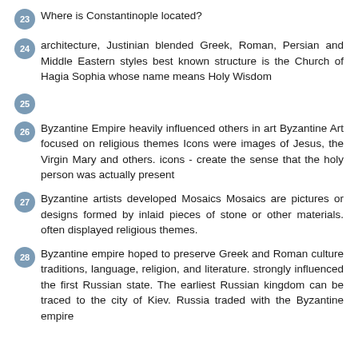23 Where is Constantinople located?
24 architecture, Justinian blended Greek, Roman, Persian and Middle Eastern styles best known structure is the Church of Hagia Sophia whose name means Holy Wisdom
25
26 Byzantine Empire heavily influenced others in art Byzantine Art focused on religious themes Icons were images of Jesus, the Virgin Mary and others. icons - create the sense that the holy person was actually present
27 Byzantine artists developed Mosaics Mosaics are pictures or designs formed by inlaid pieces of stone or other materials. often displayed religious themes.
28 Byzantine empire hoped to preserve Greek and Roman culture traditions, language, religion, and literature. strongly influenced the first Russian state. The earliest Russian kingdom can be traced to the city of Kiev. Russia traded with the Byzantine empire